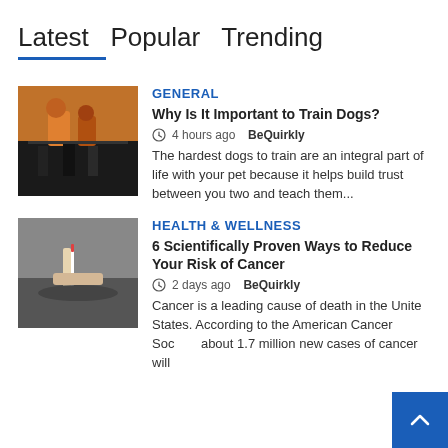Latest  Popular  Trending
GENERAL
Why Is It Important to Train Dogs?
4 hours ago  BeQuirkly
The hardest dogs to train are an integral part of life with your pet because it helps build trust between you two and teach them...
HEALTH & WELLNESS
6 Scientifically Proven Ways to Reduce Your Risk of Cancer
2 days ago  BeQuirkly
Cancer is a leading cause of death in the United States. According to the American Cancer Society, about 1.7 million new cases of cancer will